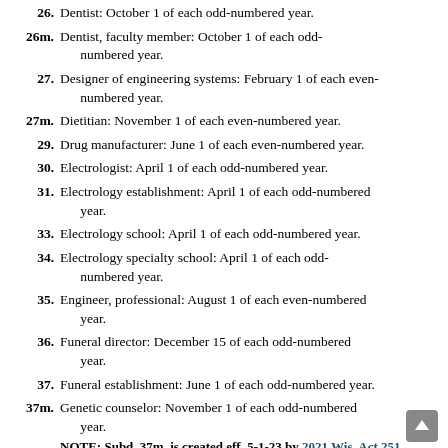26. Dentist: October 1 of each odd-numbered year.
26m. Dentist, faculty member: October 1 of each odd-numbered year.
27. Designer of engineering systems: February 1 of each even-numbered year.
27m. Dietitian: November 1 of each even-numbered year.
29. Drug manufacturer: June 1 of each even-numbered year.
30. Electrologist: April 1 of each odd-numbered year.
31. Electrology establishment: April 1 of each odd-numbered year.
33. Electrology school: April 1 of each odd-numbered year.
34. Electrology specialty school: April 1 of each odd-numbered year.
35. Engineer, professional: August 1 of each even-numbered year.
36. Funeral director: December 15 of each odd-numbered year.
37. Funeral establishment: June 1 of each odd-numbered year.
37m. Genetic counselor: November 1 of each odd-numbered year.
NOTE: Subd. 37m. is created eff. 5-1-23 by 2021 Wis. Act 251
38. Hearing instrument specialist: February 1 of each odd-